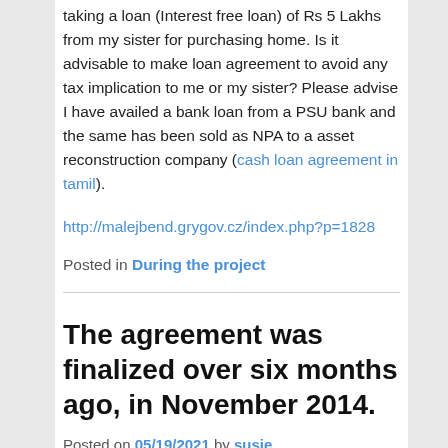taking a loan (Interest free loan) of Rs 5 Lakhs from my sister for purchasing home. Is it advisable to make loan agreement to avoid any tax implication to me or my sister? Please advise I have availed a bank loan from a PSU bank and the same has been sold as NPA to a asset reconstruction company (cash loan agreement in tamil).
http://malejbend.grygov.cz/index.php?p=1828
Posted in During the project
The agreement was finalized over six months ago, in November 2014.
Posted on 05/19/2021 by susie
While this type of situation differs from a typical purchase because the parties have not had a meeting of the minds